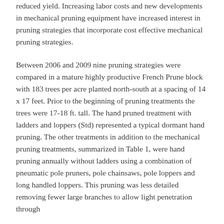reduced yield. Increasing labor costs and new developments in mechanical pruning equipment have increased interest in pruning strategies that incorporate cost effective mechanical pruning strategies.
Between 2006 and 2009 nine pruning strategies were compared in a mature highly productive French Prune block with 183 trees per acre planted north-south at a spacing of 14 x 17 feet. Prior to the beginning of pruning treatments the trees were 17-18 ft. tall. The hand pruned treatment with ladders and loppers (Std) represented a typical dormant hand pruning. The other treatments in addition to the mechanical pruning treatments, summarized in Table 1, were hand pruning annually without ladders using a combination of pneumatic pole pruners, pole chainsaws, pole loppers and long handled loppers. This pruning was less detailed removing fewer large branches to allow light penetration through...